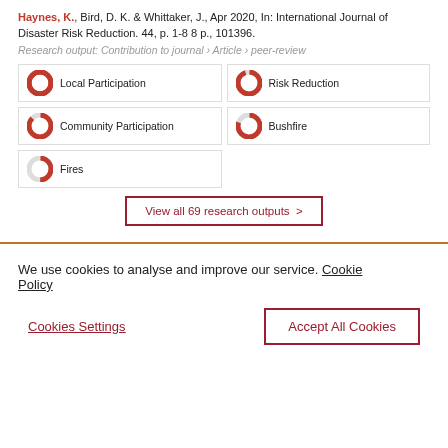Haynes, K., Bird, D. K. & Whittaker, J., Apr 2020, In: International Journal of Disaster Risk Reduction. 44, p. 1-8 8 p., 101396.
Research output: Contribution to journal › Article › peer-review
Local Participation
Risk Reduction
Community Participation
Bushfire
Fires
View all 69 research outputs >
We use cookies to analyse and improve our service. Cookie Policy
Cookies Settings
Accept All Cookies